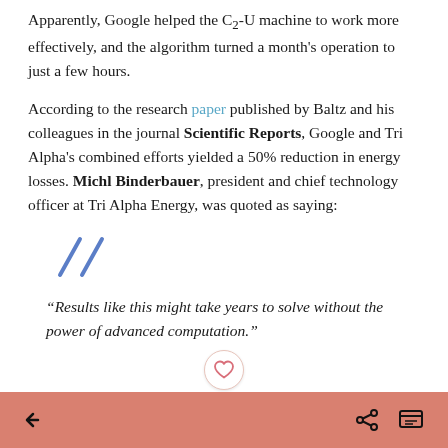Apparently, Google helped the C2-U machine to work more effectively, and the algorithm turned a month's operation to just a few hours.
According to the research paper published by Baltz and his colleagues in the journal Scientific Reports, Google and Tri Alpha's combined efforts yielded a 50% reduction in energy losses. Michl Binderbauer, president and chief technology officer at Tri Alpha Energy, was quoted as saying:
[Figure (illustration): Two diagonal blue slash marks (decorative quotation indicator)]
“Results like this might take years to solve without the power of advanced computation.”